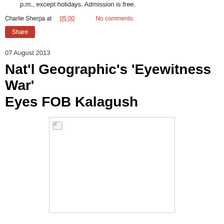p.m., except holidays. Admission is free.
Charlie Sherpa at 05:00   No comments:
Share
07 August 2013
Nat'l Geographic's 'Eyewitness War' Eyes FOB Kalagush
[Figure (photo): Image placeholder with broken image icon in top-left corner, rectangular bordered box]